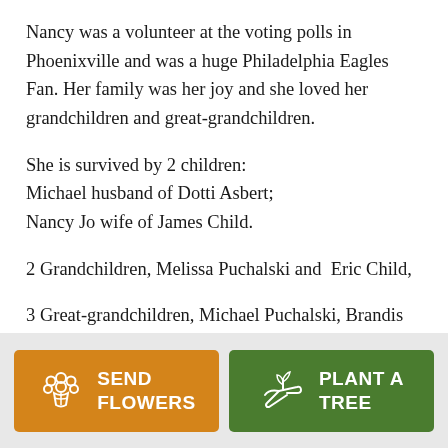Nancy was a volunteer at the voting polls in Phoenixville and was a huge Philadelphia Eagles Fan. Her family was her joy and she loved her grandchildren and great-grandchildren.
She is survived by 2 children:
Michael husband of Dotti Asbert;
Nancy Jo wife of James Child.
2 Grandchildren, Melissa Puchalski and  Eric Child,
3 Great-grandchildren, Michael Puchalski, Brandis
[Figure (other): Two call-to-action buttons: 'SEND FLOWERS' (orange, with flower bouquet icon) and 'PLANT A TREE' (green, with seedling in hand icon)]